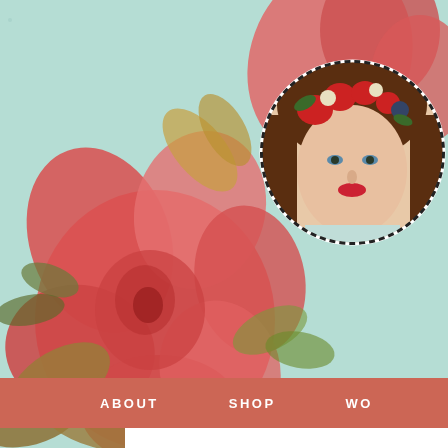[Figure (illustration): Vintage botanical floral illustration with large red/coral peonies and golden-brown leaves on a mint/teal background, occupying the left and top portion of the page]
[Figure (photo): Circular portrait photo of a young woman with long brown hair, blue eyes, red lipstick, wearing a floral crown of red roses and white flowers, with a dashed circular border]
ABOUT   SHOP   WO
Free Printable P Invitations - Pe Summer Parties
May 16, 2016 | Posted by Chelsey